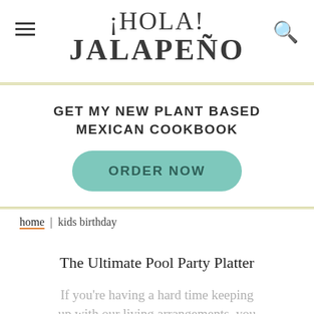¡HOLA! JALAPEÑO
GET MY NEW PLANT BASED MEXICAN COOKBOOK
ORDER NOW
home | kids birthday
The Ultimate Pool Party Platter
If you're having a hard time keeping up with our living arrangements, you